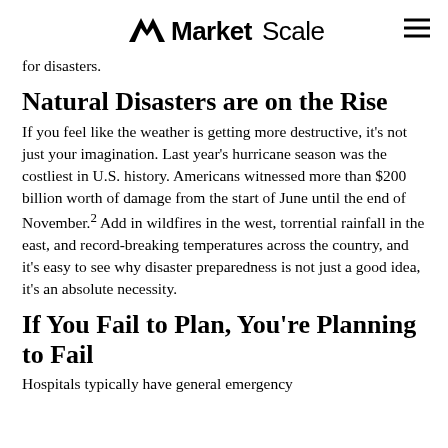MarketScale
for disasters.
Natural Disasters are on the Rise
If you feel like the weather is getting more destructive, it's not just your imagination. Last year's hurricane season was the costliest in U.S. history. Americans witnessed more than $200 billion worth of damage from the start of June until the end of November.² Add in wildfires in the west, torrential rainfall in the east, and record-breaking temperatures across the country, and it's easy to see why disaster preparedness is not just a good idea, it's an absolute necessity.
If You Fail to Plan, You're Planning to Fail
Hospitals typically have general emergency